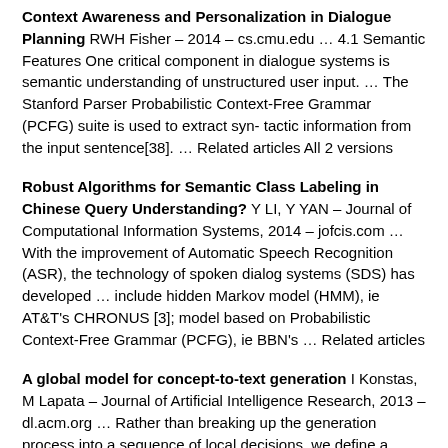Context Awareness and Personalization in Dialogue Planning RWH Fisher – 2014 – cs.cmu.edu … 4.1 Semantic Features One critical component in dialogue systems is semantic understanding of unstructured user input. … The Stanford Parser Probabilistic Context-Free Grammar (PCFG) suite is used to extract syn- tactic information from the input sentence[38]. … Related articles All 2 versions
Robust Algorithms for Semantic Class Labeling in Chinese Query Understanding? Y LI, Y YAN – Journal of Computational Information Systems, 2014 – jofcis.com … With the improvement of Automatic Speech Recognition (ASR), the technology of spoken dialog systems (SDS) has developed … include hidden Markov model (HMM), ie AT&T's CHRONUS [3]; model based on Probabilistic Context-Free Grammar (PCFG), ie BBN's … Related articles
A global model for concept-to-text generation I Konstas, M Lapata – Journal of Artificial Intelligence Research, 2013 – dl.acm.org … Rather than breaking up the generation process into a sequence of local decisions, we define a probabilistic context-free grammar that globally describes the … Trainable approaches to surface natural language generation and their application to conversational dialog systems. … Cited by 1